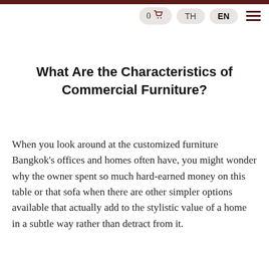0 🛒  TH  EN
What Are the Characteristics of Commercial Furniture?
When you look around at the customized furniture Bangkok's offices and homes often have, you might wonder why the owner spent so much hard-earned money on this table or that sofa when there are other simpler options available that actually add to the stylistic value of a home in a subtle way rather than detract from it.